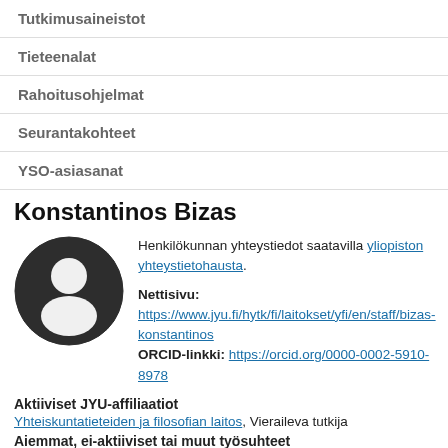Tutkimusaineistot
Tieteenalat
Rahoitusohjelmat
Seurantakohteet
YSO-asiasanat
Konstantinos Bizas
Henkilökunnan yhteystiedot saatavilla yliopiston yhteystietohausta.
Nettisivu: https://www.jyu.fi/hytk/fi/laitokset/yfi/en/staff/bizas-konstantinos
ORCID-linkki: https://orcid.org/0000-0002-5910-8978
Aktiiviset JYU-affiliaatiot
Yhteiskuntatieteiden ja filosofian laitos, Vieraileva tutkija
Aiemmat, ei-aktiiviset tai muut työsuhteet